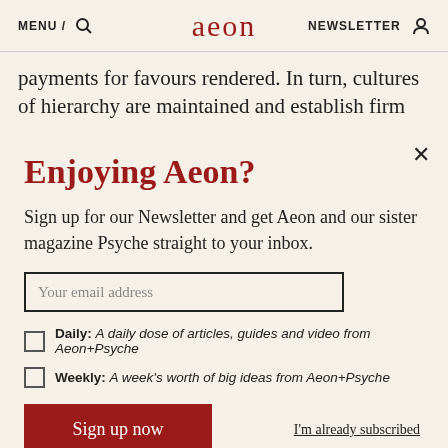MENU / [search icon] aeon NEWSLETTER [user icon]
payments for favours rendered. In turn, cultures of hierarchy are maintained and establish firm
Enjoying Aeon?
Sign up for our Newsletter and get Aeon and our sister magazine Psyche straight to your inbox.
Your email address
Daily: A daily dose of articles, guides and video from Aeon+Psyche
Weekly: A week's worth of big ideas from Aeon+Psyche
Sign up now
I'm already subscribed
Privacy policy